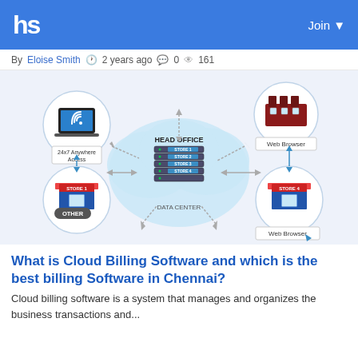hs   Join
By Eloise Smith  2 years ago  0  161
[Figure (infographic): Cloud billing software infographic showing a central data center cloud (HEAD OFFICE with STORE 1, STORE 2, STORE 3, STORE 4) connected via arrows to: 24x7 Anywhere Access (laptop icon, top-left), Web Browser (factory icon, top-right), Store 1/OTHER (shop icon, bottom-left), Web Browser/Store 4 (shop icon, bottom-right). Labeled DATA CENTER at the bottom of the cloud.]
What is Cloud Billing Software and which is the best billing Software in Chennai?
Cloud billing software is a system that manages and organizes the business transactions and...